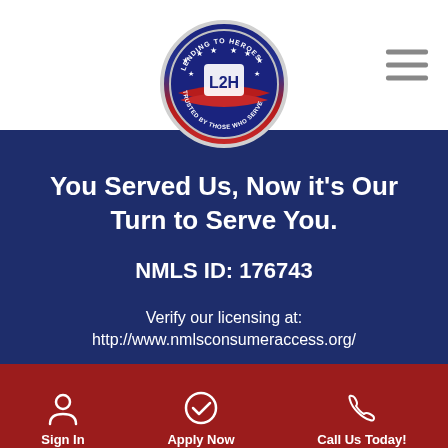[Figure (logo): L2H (Lending to Heroes) circular logo with stars and American flag design, text 'LENDING TO HEROES' and 'TRUSTED BY THOSE WHO SERVE' around the border]
You Served Us, Now it's Our Turn to Serve You.
NMLS ID: 176743
Verify our licensing at:
http://www.nmlsconsumeraccess.org/
Sign In   Apply Now   Call Us Today!